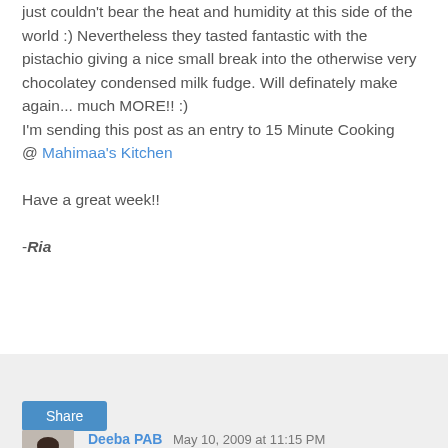just couldn't bear the heat and humidity at this side of the world :) Nevertheless they tasted fantastic with the pistachio giving a nice small break into the otherwise very chocolatey condensed milk fudge. Will definately make again... much MORE!! :)
I'm sending this post as an entry to 15 Minute Cooking @ Mahimaa's Kitchen

Have a great week!!

-Ria
Share
16 comments:
Deeba PAB  May 10, 2009 at 11:15 PM
I love Nigella's Pistachio Fudge & made it with my daughter